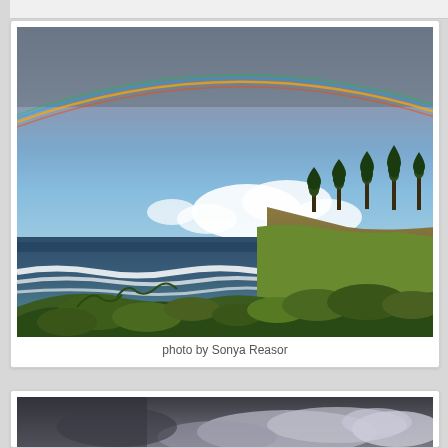[Figure (photo): Coastal landscape photograph showing a rainbow arching across a blue sky with white clouds, dark ocean waves with white surf, green/brown coastal bluff with evergreen trees on the right, and foreground vegetation. Rainbow is prominent in the upper portion of the image.]
photo by Sonya Reasor
[Figure (photo): Partial view of another coastal landscape photograph showing a dark stormy sky with grey clouds and lighter cloud formations.]